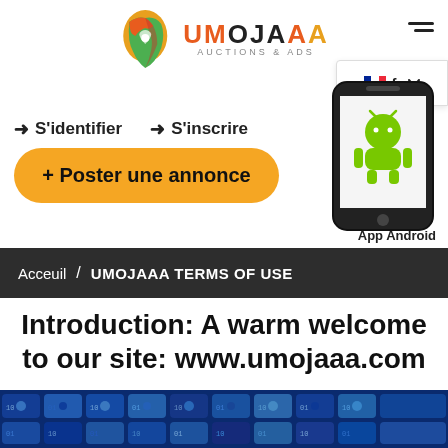[Figure (logo): Umojaaa Auctions & Ads logo with African continent icon]
[Figure (illustration): Hamburger menu icon (three horizontal lines)]
[Figure (illustration): French flag language selector box with 'fr' text and dropdown arrow]
➜ S'identifier   ➜ S'inscrire
+ Poster une annonce
[Figure (illustration): Android smartphone with green Android robot icon]
App Android
Acceuil / UMOJAAA TERMS OF USE
Introduction: A warm welcome to our site: www.umojaaa.com
[Figure (illustration): Digital network pattern with blue binary code and mosaic tiles]